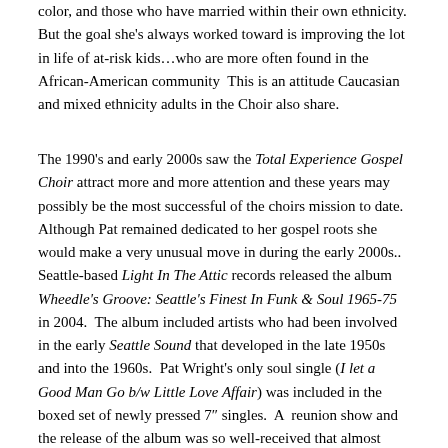color, and those who have married within their own ethnicity. But the goal she's always worked toward is improving the lot in life of at-risk kids…who are more often found in the African-American community  This is an attitude Caucasian and mixed ethnicity adults in the Choir also share.
The 1990's and early 2000s saw the Total Experience Gospel Choir attract more and more attention and these years may possibly be the most successful of the choirs mission to date.  Although Pat remained dedicated to her gospel roots she would make a very unusual move in during the early 2000s..  Seattle-based Light In The Attic records released the album Wheedle's Groove: Seattle's Finest In Funk & Soul 1965-75 in 2004.  The album included artists who had been involved in the early Seattle Sound that developed in the late 1950s and into the 1960s.  Pat Wright's only soul single (I let a Good Man Go b/w Little Love Affair) was included in the boxed set of newly pressed 7" singles.  A  reunion show and the release of the album was so well-received that almost immediately a follow-up album was planned.  This newer release would include artists that had previously worked with one of the Northwest's most important studio engineers, Kearney Barton. Barton had been instrumental in developing the Northwest Sound by